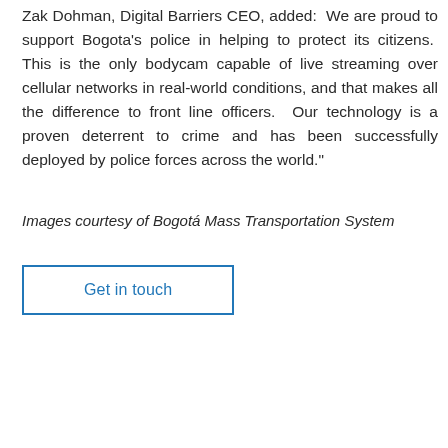Zak Dohman, Digital Barriers CEO, added:  We are proud to support Bogota's police in helping to protect its citizens.  This is the only bodycam capable of live streaming over cellular networks in real-world conditions, and that makes all the difference to front line officers.  Our technology is a proven deterrent to crime and has been successfully deployed by police forces across the world."
Images courtesy of Bogotá Mass Transportation System
Get in touch